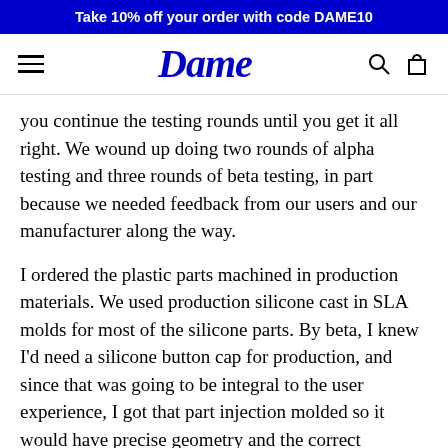Take 10% off your order with code DAME10
[Figure (logo): Dame brand logo with hamburger menu, search icon, and shopping bag icon in navigation bar]
you continue the testing rounds until you get it all right. We wound up doing two rounds of alpha testing and three rounds of beta testing, in part because we needed feedback from our users and our manufacturer along the way.
I ordered the plastic parts machined in production materials. We used production silicone cast in SLA molds for most of the silicone parts. By beta, I knew I'd need a silicone button cap for production, and since that was going to be integral to the user experience, I got that part injection molded so it would have precise geometry and the correct durometer.
We had two PCBA revisions. For the first revision, I ordered